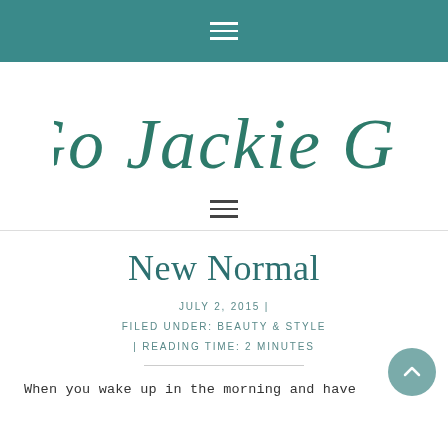≡ (hamburger menu)
[Figure (logo): Go Jackie Go — decorative script/cursive logo in teal green]
≡ (hamburger menu)
New Normal
JULY 2, 2015 | FILED UNDER: BEAUTY & STYLE | READING TIME: 2 MINUTES
When you wake up in the morning and have